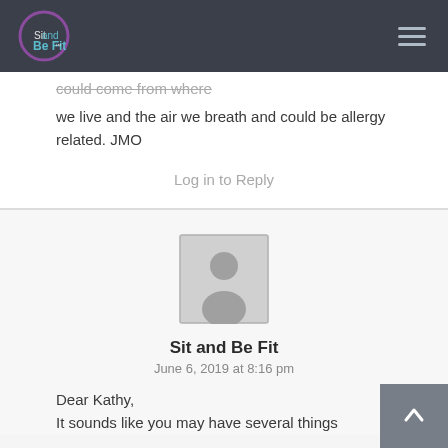Sit and Be Fit
...could come from where we live and the air we breath and could be allergy related. JMO
Log in to Reply
[Figure (photo): Default avatar/profile placeholder image - grey silhouette of a person]
Sit and Be Fit
June 6, 2019 at 8:16 pm
Dear Kathy, It sounds like you may have several things